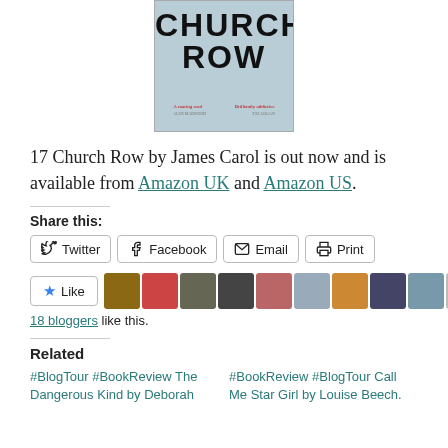[Figure (illustration): Book cover of '17 Church Row' showing the title 'CHURCH ROW' in large bold letters on a grey/blue background with blurb text at the bottom.]
17 Church Row by James Carol is out now and is available from Amazon UK and Amazon US.
Share this:
Twitter  Facebook  Email  Print
[Figure (illustration): Like button with star icon and a row of blogger avatar photos]
18 bloggers like this.
Related
#BlogTour #BookReview The Dangerous Kind by Deborah
#BookReview #BlogTour Call Me Star Girl by Louise Beech.